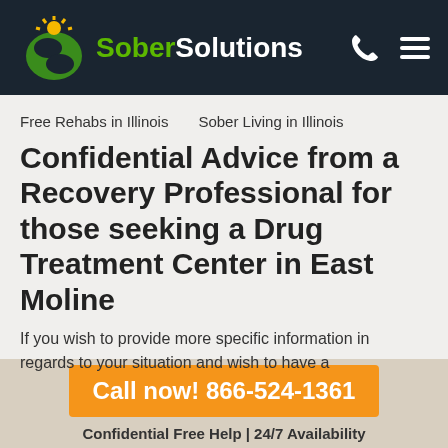[Figure (logo): Sober Solutions logo with green S icon and sun, white and green text on dark background, with phone and menu icons]
Free Rehabs in Illinois    Sober Living in Illinois
Confidential Advice from a Recovery Professional for those seeking a Drug Treatment Center in East Moline
If you wish to provide more specific information in regards to your situation and wish to have a
Call now! 866-524-1361
Confidential Free Help | 24/7 Availability